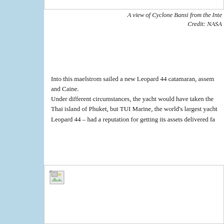[Figure (photo): Top portion of an image box (cropped at top of page) showing a view of Cyclone Bansi from the International Space Station]
A view of Cyclone Bansi from the Inte...
Credit: NASA
Into this maelstrom sailed a new Leopard 44 catamaran, assembled by Captain and Caine.
Under different circumstances, the yacht would have taken the Thai island of Phuket, but TUI Marine, the world's largest yacht... Leopard 44 – had a reputation for getting its assets delivered fa...
[Figure (photo): A large image placeholder with a broken image icon in the upper left corner, representing a photograph that failed to load]